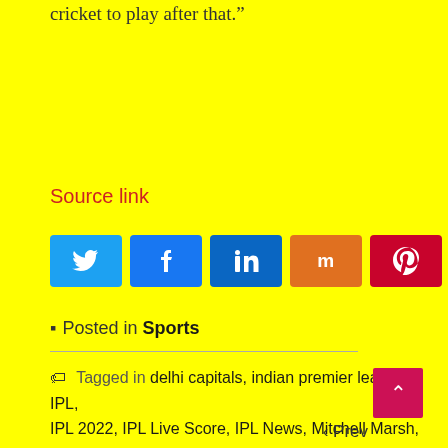cricket to play after that.”
Source link
[Figure (other): Social sharing buttons: Twitter, Facebook, LinkedIn, Mix, Pinterest, and a share count showing 0 SHARES]
▮  Posted in Sports
🏷  Tagged in delhi capitals, indian premier league, IPL, IPL 2022, IPL Live Score, IPL News, Mitchell Marsh, Mumbai Indians, ricky ponting